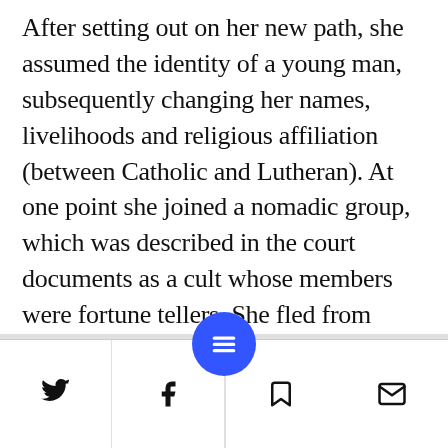After setting out on her new path, she assumed the identity of a young man, subsequently changing her names, livelihoods and religious affiliation (between Catholic and Lutheran). At one point she joined a nomadic group, which was described in the court documents as a cult whose members were fortune tellers. She fled from them after persuading two men they could walk on water – both of whom drowned. Afterward she held various jobs, including as a swineherd and a textile worker, until adopting a military career in 1705.
[Twitter icon] [Facebook icon] [Menu/hamburger icon] [Bookmark icon] [Email icon]